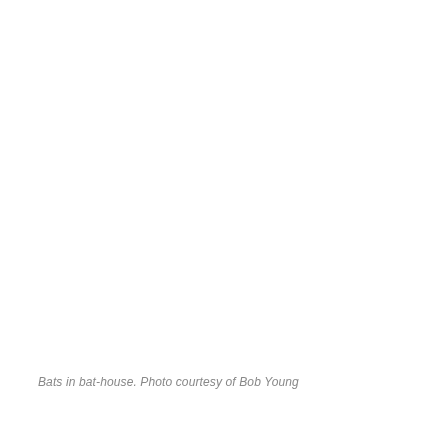[Figure (photo): A white/blank image area showing bats in a bat-house (photo content not visible in rendering)]
Bats in bat-house. Photo courtesy of Bob Young